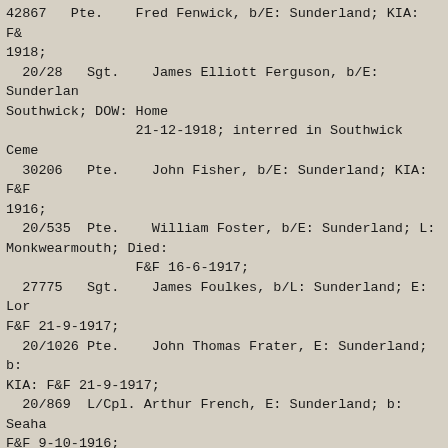42867   Pte.   Fred Fenwick, b/E: Sunderland; KIA: F& 1918;
20/28   Sgt.   James Elliott Ferguson, b/E: Sunderlan Southwick; DOW: Home 21-12-1918; interred in Southwick Ceme
30206   Pte.   John Fisher, b/E: Sunderland; KIA: F&F 1916;
20/535  Pte.   William Foster, b/E: Sunderland; L: Monkwearmouth; Died: F&F 16-6-1917;
27775   Sgt.   James Foulkes, b/L: Sunderland; E: Lor F&F 21-9-1917;
20/1026 Pte.   John Thomas Frater, E: Sunderland; b: KIA: F&F 21-9-1917;
20/869  L/Cpl. Arthur French, E: Sunderland; b: Seaha F&F 9-10-1916;
33068   Pte.   Charles William Goodyear, b: Durham; B Richmond; L: Catterick; KIA: F&F 31-7-1917;  (L: Sunderland; ( Regs.)
20/686  Pte.   John George Goulden, b/E: Sunderland; 31-7-1917;
45802   Pte.   Harry Greenwood, E: Sunderland; b: Dar KIA: F&F 31-1-1917;
20/391  Pte.   William Haines, E: Sunderland; L: Henc Newport, Monmouth; DOW: F&F 16-9-1916;
20/950  Pte.   Norman Hall, b/E: Sunderland; KIA: F&F 1916;
20/485  Cpl.   James Hannah, MM; b/E: Sunderland; KIA